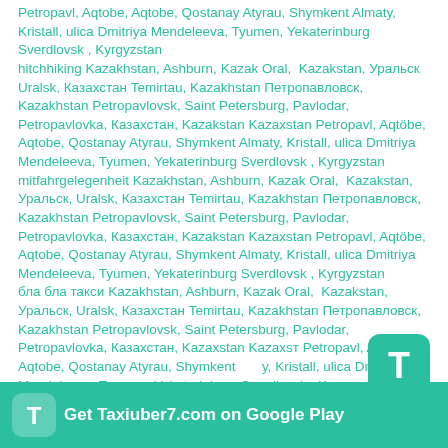Petropavl, Aqtobe, Aqtobe, Qostanay Atyrau, Shymkent Almaty, Kristall, ulica Dmitriya Mendeleeva, Tyumen, Yekaterinburg Sverdlovsk , Kyrgyzstan
hitchhiking Kazakhstan, Ashburn, Kazak Oral,  Kazakstan, Уральск, Uralsk, Казахстан Temirtau, Kazakhstan Петропавловск, Kazakhstan Petropavlovsk, Saint Petersburg, Pavlodar, Petropavlovka, Казахстан, Kazakstan Kazaxstan Petropavl, Aqtöbe, Aqtobe, Qostanay Atyrau, Shymkent Almaty, Kristall, ulica Dmitriya Mendeleeva, Tyumen, Yekaterinburg Sverdlovsk , Kyrgyzstan
mitfahrgelegenheit Kazakhstan, Ashburn, Kazak Oral,  Kazakstan, Уральск, Uralsk, Казахстан Temirtau, Kazakhstan Петропавловск, Kazakhstan Petropavlovsk, Saint Petersburg, Pavlodar, Petropavlovka, Казахстан, Kazakstan Kazaxstan Petropavl, Aqtöbe, Aqtobe, Qostanay Atyrau, Shymkent Almaty, Kristall, ulica Dmitriya Mendeleeva, Tyumen, Yekaterinburg Sverdlovsk , Kyrgyzstan
бла бла такси Kazakhstan, Ashburn, Kazak Oral,  Kazakstan, Уральск, Uralsk, Казахстан Temirtau, Kazakhstan Петропавловск, Kazakhstan Petropavlovsk, Saint Petersburg, Pavlodar, Petropavlovka, Казахстан, Kazakstan Kazaxstan Petropavl, Aqtöbe, Aqtobe, Qostanay Atyrau, Shymkent Almaty, Kristall, ulica Dmitriya Mendeleeva, Tyumen, Yekaterinburg Sverdlovsk , Kyrgyzstan plaplacar Kazakhstan, Ashburn, Kazak Oral,  Казахстан Temirtau, Казахстан Петропавловск, Kazakhstan Petropavlovsk, Saint
[Figure (logo): Green rounded square icon with white letter T]
Get Taxiuber7.com on Google Play